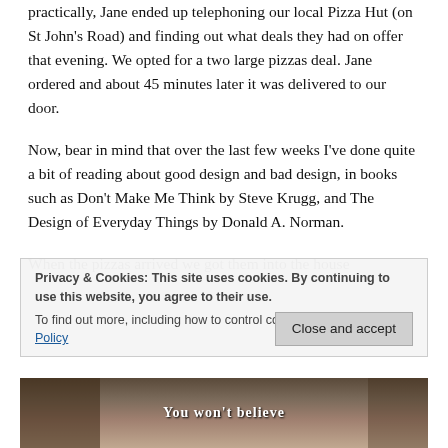practically, Jane ended up telephoning our local Pizza Hut (on St John's Road) and finding out what deals they had on offer that evening. We opted for a two large pizzas deal. Jane ordered and about 45 minutes later it was delivered to our door.
Now, bear in mind that over the last few weeks I've done quite a bit of reading about good design and bad design, in books such as Don't Make Me Think by Steve Krugg, and The Design of Everyday Things by Donald A. Norman.
When the pizzas arrived we got them into the house
Privacy & Cookies: This site uses cookies. By continuing to use this website, you agree to their use.
To find out more, including how to control cookies, see here: Cookie Policy
[Figure (photo): Partial photo at bottom of page showing text 'You won't believe' and 'free delivery' on what appears to be a pizza box or promotional material]